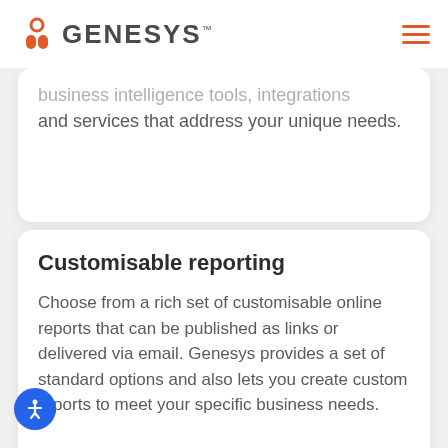GENESYS
business intelligence tools, integrations and services that address your unique needs.
Customisable reporting
Choose from a rich set of customisable online reports that can be published as links or delivered via email. Genesys provides a set of standard options and also lets you create custom reports to meet your specific business needs.